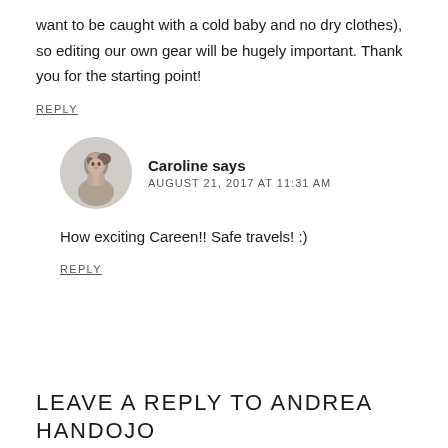want to be caught with a cold baby and no dry clothes), so editing our own gear will be hugely important. Thank you for the starting point!
REPLY
[Figure (photo): Circular avatar photo of a woman with dark hair]
Caroline says
AUGUST 21, 2017 AT 11:31 AM
How exciting Careen!! Safe travels! :)
REPLY
LEAVE A REPLY TO ANDREA HANDOJO